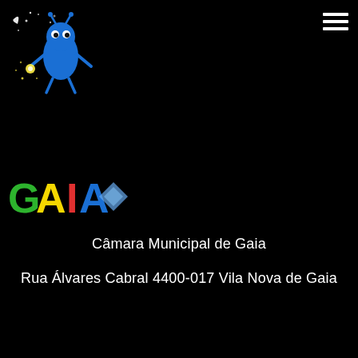[Figure (logo): Blue cartoon firefly/bug character with stars on black background, top-left corner]
[Figure (logo): Hamburger menu icon (three horizontal lines) in top-right corner]
[Figure (logo): GAIA colorful logo text in green, yellow, red/orange, and blue on black background]
Câmara Municipal de Gaia
Rua Álvares Cabral 4400-017 Vila Nova de Gaia